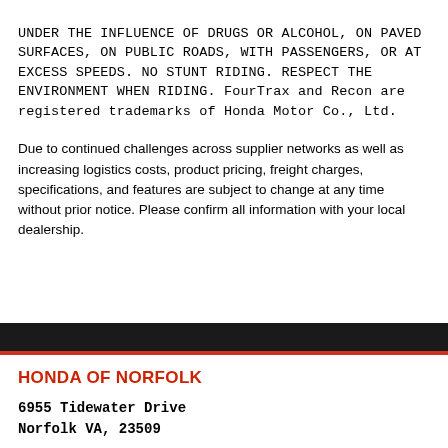UNDER THE INFLUENCE OF DRUGS OR ALCOHOL, ON PAVED SURFACES, ON PUBLIC ROADS, WITH PASSENGERS, OR AT EXCESS SPEEDS. NO STUNT RIDING. RESPECT THE ENVIRONMENT WHEN RIDING. FourTrax and Recon are registered trademarks of Honda Motor Co., Ltd.
Due to continued challenges across supplier networks as well as increasing logistics costs, product pricing, freight charges, specifications, and features are subject to change at any time without prior notice. Please confirm all information with your local dealership.
HONDA OF NORFOLK
6955 Tidewater Drive
Norfolk VA, 23509